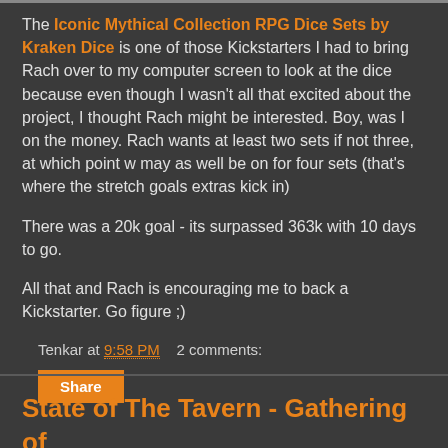The Iconic Mythical Collection RPG Dice Sets by Kraken Dice is one of those Kickstarters I had to bring Rach over to my computer screen to look at the dice because even though I wasn't all that excited about the project, I thought Rach might be interested. Boy, was I on the money. Rach wants at least two sets if not three, at which point w may as well be on for four sets (that's where the stretch goals extras kick in)
There was a 20k goal - its surpassed 363k with 10 days to go.
All that and Rach is encouraging me to back a Kickstarter. Go figure ;)
Tenkar at 9:58 PM    2 comments:
Share
State of The Tavern - Gathering of